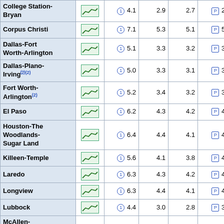| Area | Chart | (1) val1 | val2 | val3 | (P) val4 | (P)(1) val5 |
| --- | --- | --- | --- | --- | --- | --- |
| College Station-Bryan | chart | (1) 4.1 | 2.9 | 2.7 | (P) 2.9 | (P)(1) -1.2 |
| Corpus Christi | chart | (1) 7.1 | 5.3 | 5.1 | (P) 5.1 | (P)(1) -2.0 |
| Dallas-Fort Worth-Arlington | chart | (1) 5.1 | 3.3 | 3.2 | (P) 3.3 | (P)(1) -1.8 |
| Dallas-Plano-Irving(2) | chart | (1) 5.0 | 3.3 | 3.1 | (P) 3.3 | (P)(1) -1.7 |
| Fort Worth-Arlington(2) | chart | (1) 5.2 | 3.4 | 3.2 | (P) 3.4 | (P)(1) -1.8 |
| El Paso | chart | (1) 6.2 | 4.3 | 4.2 | (P) 4.3 | (P)(1) -1.9 |
| Houston-The Woodlands-Sugar Land | chart | (1) 6.4 | 4.4 | 4.1 | (P) 4.3 | (P)(1) -2.1 |
| Killeen-Temple | chart | (1) 5.6 | 4.1 | 3.8 | (P) 4.1 | (P)(1) -1.5 |
| Laredo | chart | (1) 6.3 | 4.3 | 4.2 | (P) 4.3 | (P)(1) -2.0 |
| Longview | chart | (1) 6.3 | 4.4 | 4.1 | (P) 4.3 | (P)(1) -2.0 |
| Lubbock | chart | (1) 4.4 | 3.0 | 2.8 | (P) 3.0 | (P)(1) -1.4 |
| McAllen-Edinburg-Mission | chart | (1) 9.2 | 7.0 | 6.8 | (P) 6.9 | (P)(1) -2.3 |